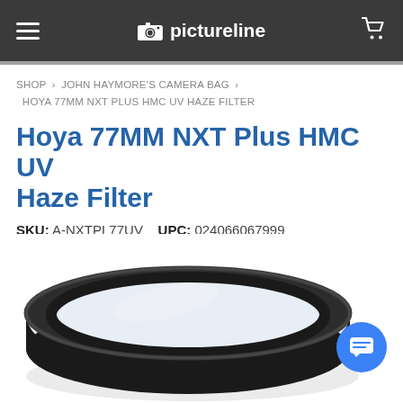pictureline
SHOP > JOHN HAYMORE'S CAMERA BAG > HOYA 77MM NXT PLUS HMC UV HAZE FILTER
Hoya 77MM NXT Plus HMC UV Haze Filter
SKU: A-NXTPL77UV   UPC: 024066067999
[Figure (photo): Hoya 77MM NXT Plus HMC UV Haze Filter – circular filter ring viewed from above, black anodized aluminum frame with clear glass element]
Back to top